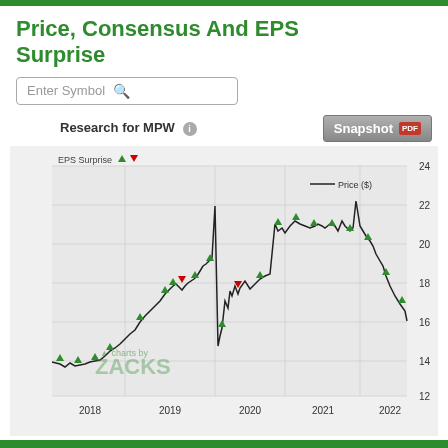Price, Consensus And EPS Surprise
[Figure (other): Search box with placeholder text 'Enter Symbol' and a search icon]
Research for MPW
[Figure (line-chart): Line chart showing MPW stock price from 2018 to 2022 with EPS Surprise markers (green up arrows for positive, red down arrows for negative). Price range approximately $12-$24. The price line starts around $14 in 2018, rises to a peak near $24 in early 2020, drops sharply, recovers to around $22 in 2021, then declines to around $14 by end of 2022. Multiple green upward arrows and a few red downward arrows mark EPS surprise events. Watermark: 'charts by ZACKS'.]